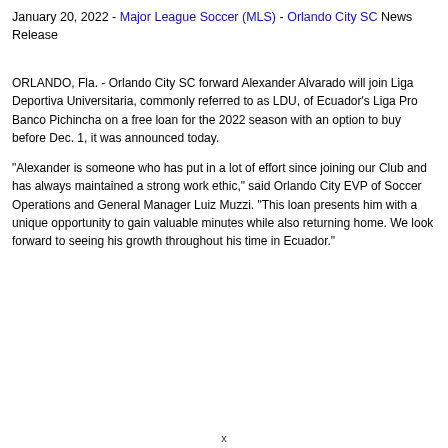January 20, 2022 - Major League Soccer (MLS) - Orlando City SC News Release
ORLANDO, Fla. - Orlando City SC forward Alexander Alvarado will join Liga Deportiva Universitaria, commonly referred to as LDU, of Ecuador's Liga Pro Banco Pichincha on a free loan for the 2022 season with an option to buy before Dec. 1, it was announced today.
"Alexander is someone who has put in a lot of effort since joining our Club and has always maintained a strong work ethic," said Orlando City EVP of Soccer Operations and General Manager Luiz Muzzi. "This loan presents him with a unique opportunity to gain valuable minutes while also returning home. We look forward to seeing his growth throughout his time in Ecuador."